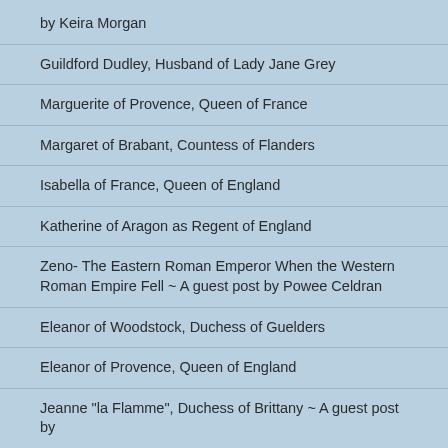by Keira Morgan
Guildford Dudley, Husband of Lady Jane Grey
Marguerite of Provence, Queen of France
Margaret of Brabant, Countess of Flanders
Isabella of France, Queen of England
Katherine of Aragon as Regent of England
Zeno- The Eastern Roman Emperor When the Western Roman Empire Fell ~ A guest post by Powee Celdran
Eleanor of Woodstock, Duchess of Guelders
Eleanor of Provence, Queen of England
Jeanne "la Flamme", Duchess of Brittany ~ A guest post by